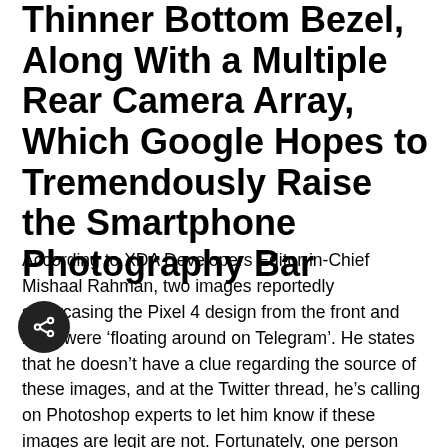Thinner Bottom Bezel, Along With a Multiple Rear Camera Array, Which Google Hopes to Tremendously Raise the Smartphone Photography Bar
According to XDA Developers Editor-in-Chief Mishaal Rahman, two images reportedly showcasing the Pixel 4 design from the front and back were ‘floating around on Telegram’. He states that he doesn’t have a clue regarding the source of these images, and at the Twitter thread, he’s calling on Photoshop experts to let him know if these images are legit are not. Fortunately, one person tweeted out that he’s had 15 years of Photoshop work experience and implies that the images aren’t manipulated in any way.